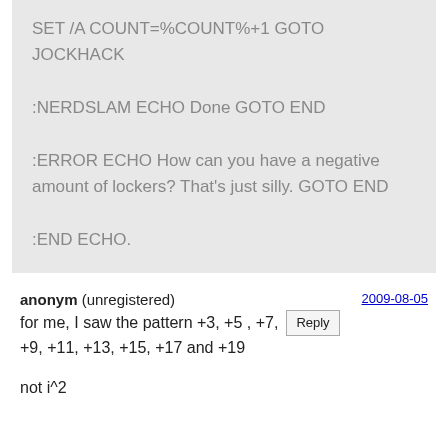SET /A COUNT=%COUNT%+1 GOTO JOCKHACK

:NERDSLAM ECHO Done GOTO END

:ERROR ECHO How can you have a negative amount of lockers? That's just silly. GOTO END

:END ECHO.
anonym (unregistered) 2009-08-05 for me, I saw the pattern +3, +5, +7, +9, +11, +13, +15, +17 and +19

not i^2